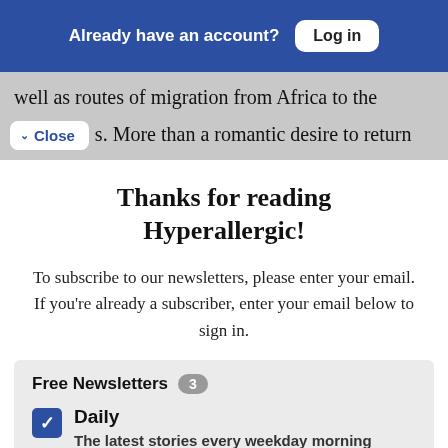Already have an account? Log in
well as routes of migration from Africa to the
Close  s. More than a romantic desire to return
Thanks for reading Hyperallergic!
To subscribe to our newsletters, please enter your email. If you're already a subscriber, enter your email below to sign in.
Free Newsletters 3
Daily - The latest stories every weekday morning